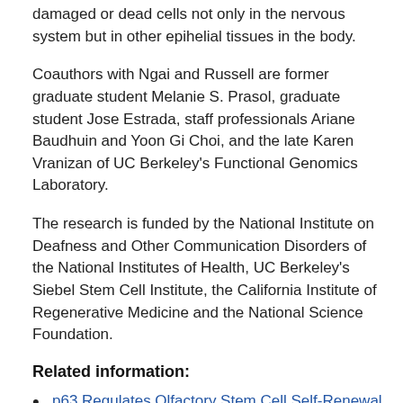damaged or dead cells not only in the nervous system but in other epihelial tissues in the body.
Coauthors with Ngai and Russell are former graduate student Melanie S. Prasol, graduate student Jose Estrada, staff professionals Ariane Baudhuin and Yoon Gi Choi, and the late Karen Vranizan of UC Berkeley's Functional Genomics Laboratory.
The research is funded by the National Institute on Deafness and Other Communication Disorders of the National Institutes of Health, UC Berkeley's Siebel Stem Cell Institute, the California Institute of Regenerative Medicine and the National Science Foundation.
Related information:
p63 Regulates Olfactory Stem Cell Self-Renewal and Differentiation (Neuron, 12/8/11)
John Ngai's lab Website
NEWS